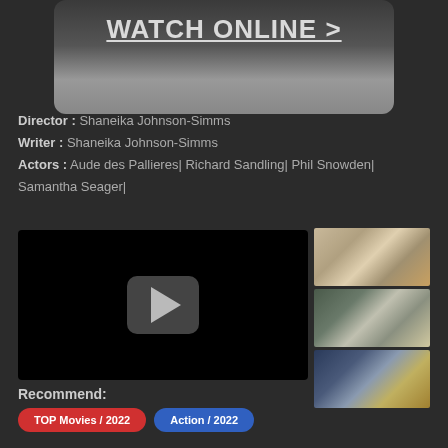[Figure (screenshot): Watch Online banner with blurred background image and white bold underlined text 'WATCH ONLINE >']
Director : Shaneika Johnson-Simms
Writer : Shaneika Johnson-Simms
Actors : Aude des Pallieres| Richard Sandling| Phil Snowden| Samantha Seager|
[Figure (screenshot): Embedded video player with black background and a grey rounded play button in center]
[Figure (photo): Thumbnail image of a large stone building (city hall or courthouse) with construction scaffolding]
[Figure (photo): Thumbnail image of a large building facade with dark foreground]
[Figure (photo): Thumbnail image of a street scene with a taxi/bus and buildings]
Recommend:
TOP Movies / 2022
Action / 2022